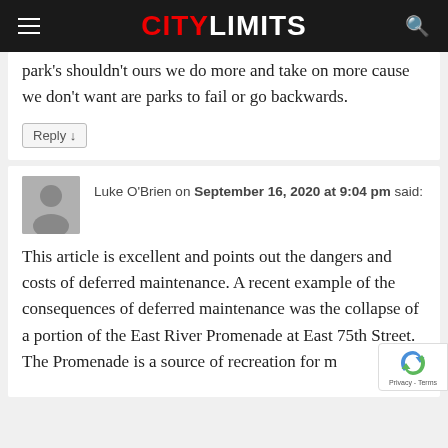CITY LIMITS
park’s shouldn’t ours we do more and take on more cause we don’t want are parks to fail or go backwards.
Reply ↓
Luke O’Brien on September 16, 2020 at 9:04 pm said:
This article is excellent and points out the dangers and costs of deferred maintenance. A recent example of the consequences of deferred maintenance was the collapse of a portion of the East River Promenade at East 75th Street. The Promenade is a source of recreation for m…